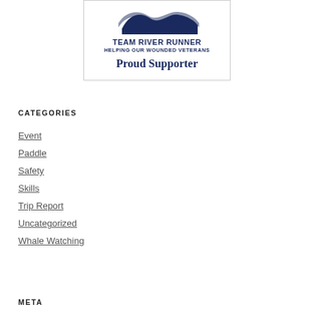[Figure (logo): Team River Runner logo with wave graphic. Text reads: TEAM RIVER RUNNER / HELPING OUR WOUNDED VETERANS / Proud Supporter]
CATEGORIES
Event
Paddle
Safety
Skills
Trip Report
Uncategorized
Whale Watching
META